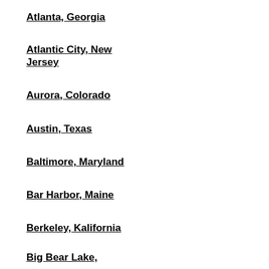Atlanta, Georgia
Atlantic City, New Jersey
Aurora, Colorado
Austin, Texas
Baltimore, Maryland
Bar Harbor, Maine
Berkeley, Kalifornia
Big Bear Lake,